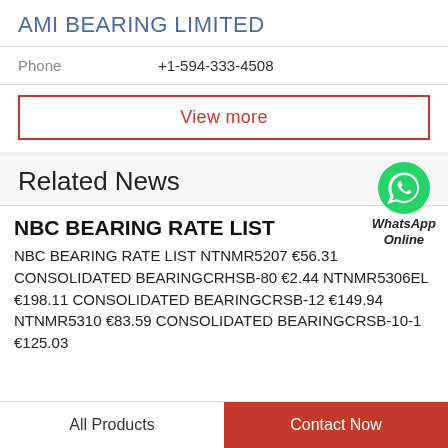AMI BEARING LIMITED
Phone    +1-594-333-4508
View more
Related News
[Figure (logo): WhatsApp Online green circle icon with phone handset, labeled WhatsApp Online]
NBC BEARING RATE LIST
NBC BEARING RATE LIST NTNMR5207 €56.31 CONSOLIDATED BEARINGCRHSB-80 €2.44 NTNMR5306EL €198.11 CONSOLIDATED BEARINGCRSB-12 €149.94 NTNMR5310 €83.59 CONSOLIDATED BEARINGCRSB-10-1 €125.03
All Products    Contact Now